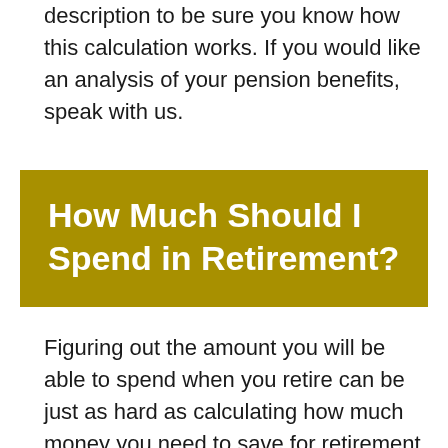description to be sure you know how this calculation works. If you would like an analysis of your pension benefits, speak with us.
How Much Should I Spend in Retirement?
Figuring out the amount you will be able to spend when you retire can be just as hard as calculating how much money you need to save for retirement. Too much money spent, you